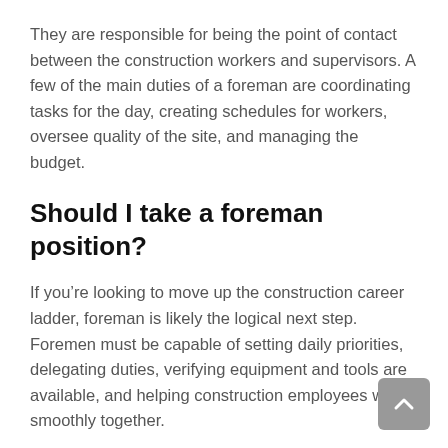They are responsible for being the point of contact between the construction workers and supervisors. A few of the main duties of a foreman are coordinating tasks for the day, creating schedules for workers, oversee quality of the site, and managing the budget.
Should I take a foreman position?
If you’re looking to move up the construction career ladder, foreman is likely the logical next step. Foremen must be capable of setting daily priorities, delegating duties, verifying equipment and tools are available, and helping construction employees work smoothly together.